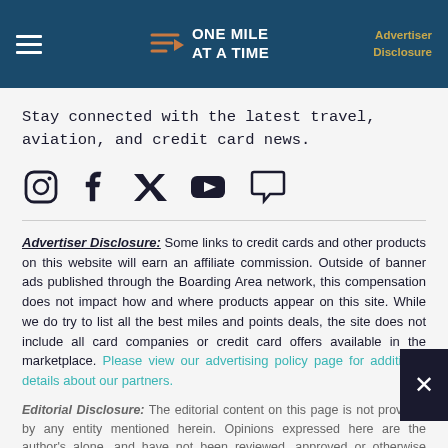ONE MILE AT A TIME | Advertiser Disclosure
Stay connected with the latest travel, aviation, and credit card news.
[Figure (illustration): Social media icons: Instagram, Facebook, Twitter, YouTube, and a chat/comment bubble icon]
Advertiser Disclosure: Some links to credit cards and other products on this website will earn an affiliate commission. Outside of banner ads published through the Boarding Area network, this compensation does not impact how and where products appear on this site. While we do try to list all the best miles and points deals, the site does not include all card companies or credit card offers available in the marketplace. Please view our advertising policy page for additional details about our partners.
Editorial Disclosure: The editorial content on this page is not provided by any entity mentioned herein. Opinions expressed here are the author's alone, and have not been reviewed, approved or otherwise endorsed by any of these entities.